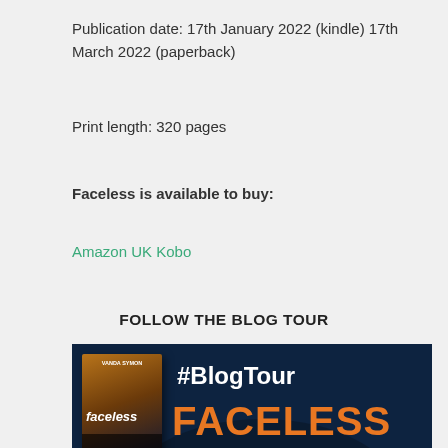Publication date: 17th January 2022 (kindle) 17th March 2022 (paperback)
Print length: 320 pages
Faceless is available to buy:
Amazon UK Kobo
FOLLOW THE BLOG TOUR
[Figure (photo): Blog tour promotional banner for 'Faceless' by Vanda Symon. Dark navy background with book cover on left, #BlogTour text in white, FACELESS in large orange text, VANDA SYMON in white below. Bottom shows MARCH 1 @littlemissbook6 | @NickiRichards7]